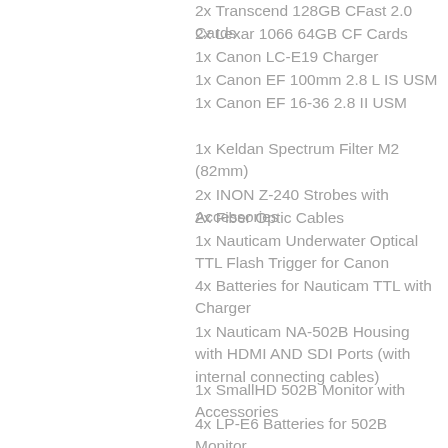2x Transcend 128GB CFast 2.0 Cards
2x Lexar 1066 64GB CF Cards
1x Canon LC-E19 Charger
1x Canon EF 100mm 2.8 L IS USM
1x Canon EF 16-36 2.8 II USM
1x Keldan Spectrum Filter M2 (82mm)
2x INON Z-240 Strobes with Accessories
2x Fiber Optic Cables
1x Nauticam Underwater Optical TTL Flash Trigger for Canon
4x Batteries for Nauticam TTL with Charger
1x Nauticam NA-502B Housing with HDMI AND SDI Ports (with internal connecting cables)
1x SmallHD 502B Monitor with Accessories
4x LP-E6 Batteries for 502B Monitor
2x Buoyancy Float Tubes Big
2x Buoyancy Float Tubes Medium